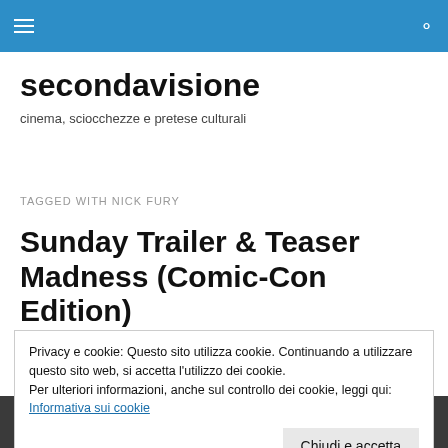secondavisione — hamburger menu and search icons
secondavisione
cinema, sciocchezze e pretese culturali
TAGGED WITH NICK FURY
Sunday Trailer & Teaser Madness (Comic-Con Edition)
Privacy e cookie: Questo sito utilizza cookie. Continuando a utilizzare questo sito web, si accetta l'utilizzo dei cookie.
Per ulteriori informazioni, anche sul controllo dei cookie, leggi qui:
Informativa sui cookie
Chiudi e accetta
[Figure (photo): Group photo strip at the bottom of the page showing multiple people]